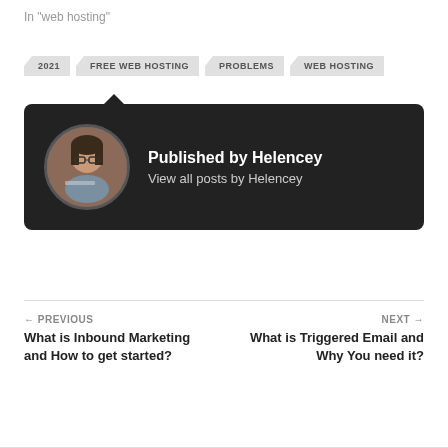In "web hosting"
2021
FREE WEB HOSTING
PROBLEMS
WEB HOSTING
[Figure (photo): Author card with dark background showing a circular profile photo of a woman working on a laptop, with text 'Published by Helencey' and 'View all posts by Helencey']
← PREVIOUS
What is Inbound Marketing and How to get started?
NEXT →
What is Triggered Email and Why You need it?